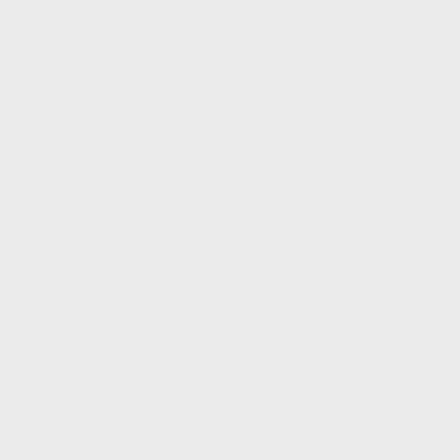farløs allerede som fireåring, og uten u om økonomiske støtte fra Lehnsgreve K Døvstummeinstituttet i Schleswig som prestegjerningen?
Med tanke på RMHs enestående evne t meget begavet forkynner som også vill samarbeid med forstander for de privat innlevelse med de lidende og med det k Johanne Agerskov og hennes mann i 1 om han hadde valgt troens veg også yr
Han fikk riktig nok også praktisere son Schleswig ble nemlig ikke langvarig. N danske styrkene seg uventet tilbake fra sin kongelige utnevnelse i stillingen so noen få andre danskelærere ved institu 1859 til 1864. RMH var en del av de to og den gamle forstanderen; Dr Paulsen
Malling-Hansen reiste hjem til Københ København og giftet seg med den avtro første kommersielt produserte skrivema
Oslo, 26.01.12
Sverre Avnskog
[Figure (photo): Partial view of a historical photograph at bottom right of page]